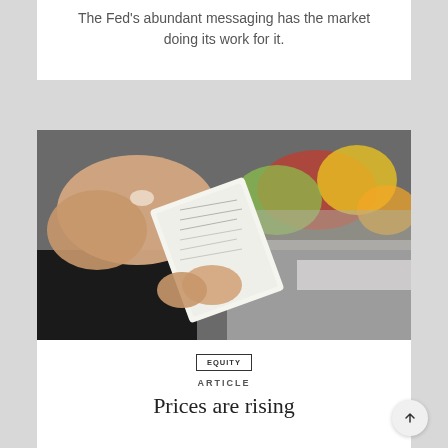The Fed's abundant messaging has the market doing its work for it.
[Figure (photo): Hands holding a grocery receipt with fruits and vegetables in the background, at what appears to be a market or grocery store checkout.]
EQUITY
ARTICLE
Prices are rising